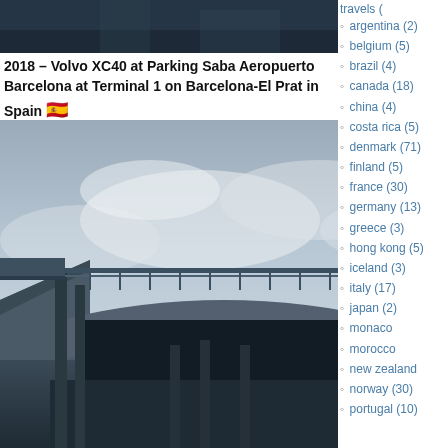[Figure (photo): Top strip of a dark parking structure or urban scene]
2018 – Volvo XC40 at Parking Saba Aeropuerto Barcelona at Terminal 1 on Barcelona-El Prat in Spain 🇪🇸
[Figure (photo): Interior of a multi-level parking structure at Barcelona airport, with concrete columns and a car visible on the upper level, dramatic cloudy sky visible above]
travels (
argentina (2)
belgium (5)
brazil (4)
canada (18)
china (4)
costa rica (5)
denmark (71)
finland (5)
france (30)
germany (13)
greece (3)
hong kong (5)
iceland (3)
italy (17)
japan (2)
monaco
morocco
new zealand
norway (30)
portugal (10)